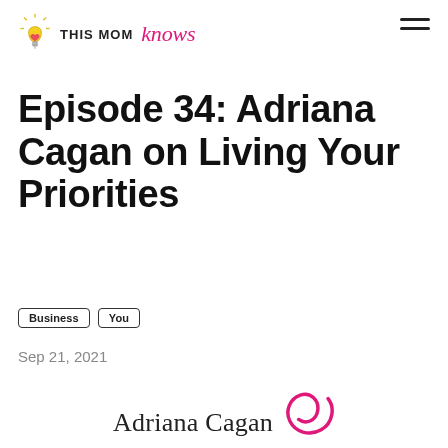THIS MOM knows
Episode 34: Adriana Cagan on Living Your Priorities
Business
You
Sep 21, 2021
Adriana Cagan